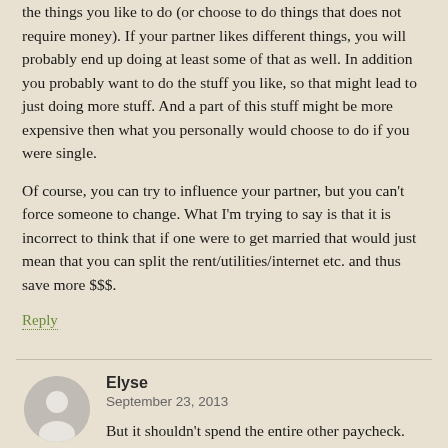the things you like to do (or choose to do things that does not require money). If your partner likes different things, you will probably end up doing at least some of that as well. In addition you probably want to do the stuff you like, so that might lead to just doing more stuff. And a part of this stuff might be more expensive then what you personally would choose to do if you were single.
Of course, you can try to influence your partner, but you can't force someone to change. What I'm trying to say is that it is incorrect to think that if one were to get married that would just mean that you can split the rent/utilities/internet etc. and thus save more $$$.
Reply
Elyse
September 23, 2013
But it shouldn't spend the entire other paycheck. And it shouldn't cost double, so both wind up saving at least a bit.
I'm the type of person where I don't know if I'll ever get married. I would need complete